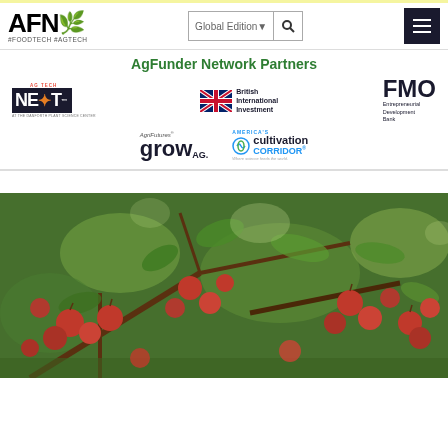AFN #FOODTECH #AGTECH — Global Edition — Navigation header with search and menu
AgFunder Network Partners
[Figure (logo): AgFunder Network Partners logos row 1: NEXT (Ag Tech at The Danforth Plant Science Center), British International Investment (BII), FMO Entrepreneurial Development Bank]
[Figure (logo): AgFunder Network Partners logos row 2: AgriFutures growAG, America's Cultivation Corridor]
[Figure (photo): Apple orchard photo showing red apples hanging on tree branches with green foliage]